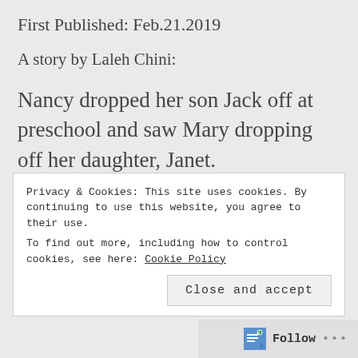First Published: Feb.21.2019
A story by Laleh Chini:
Nancy dropped her son Jack off at preschool and saw Mary dropping off her daughter, Janet.
[Figure (photo): A partial photo strip showing warm-toned outdoor/nature scene, partially obscured by cookie banner]
Privacy & Cookies: This site uses cookies. By continuing to use this website, you agree to their use.
To find out more, including how to control cookies, see here: Cookie Policy
Close and accept
Follow